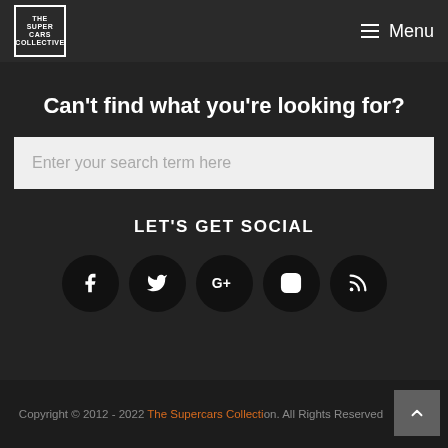THE SUPER CARS COLLECTIVE | Menu
Can't find what you're looking for?
Enter your search term here
LET'S GET SOCIAL
[Figure (infographic): Five social media icon circles: Facebook (f), Twitter (bird), Google+ (G+), Instagram (camera), RSS (signal)]
Copyright © 2012 - 2022 The Supercars Collective. All Rights Reserved